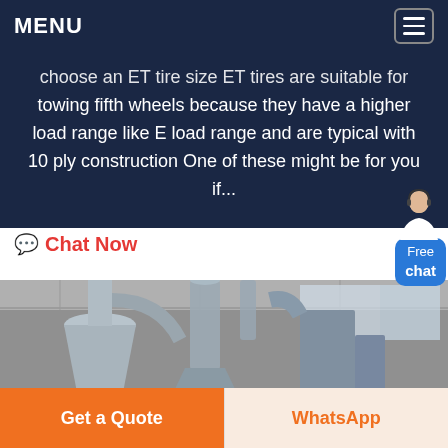MENU
choose an ET tire size ET tires are suitable for towing fifth wheels because they have a higher load range like E load range and are typical with 10 ply construction One of these might be for you if...
Chat Now
[Figure (photo): Industrial interior showing large grey metal milling or grinding machinery with cyclone separators, ducts, and hoppers inside a factory building]
Get a Quote
WhatsApp